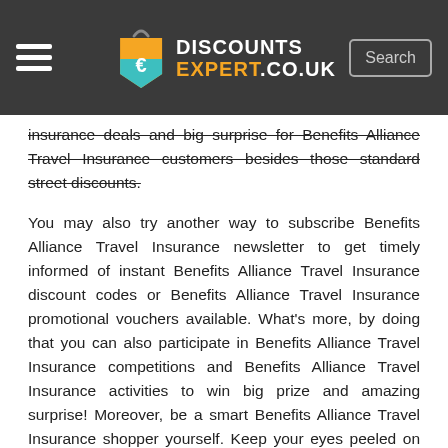DISCOUNTS EXPERT.CO.UK
insurance deals and big surprise for Benefits Alliance Travel Insurance customers besides those standard street discounts.
You may also try another way to subscribe Benefits Alliance Travel Insurance newsletter to get timely informed of instant Benefits Alliance Travel Insurance discount codes or Benefits Alliance Travel Insurance promotional vouchers available. What's more, by doing that you can also participate in Benefits Alliance Travel Insurance competitions and Benefits Alliance Travel Insurance activities to win big prize and amazing surprise! Moreover, be a smart Benefits Alliance Travel Insurance shopper yourself. Keep your eyes peeled on Benefits Alliance Travel Insurance big sale and Benefits Alliance Travel Insurance preferential activities, and think twice before making a decision. Learn to make the most of Benefits Alliance Travel Insurance promotional and Benefits Alliance Travel Insurance discount terms and conditions. Then